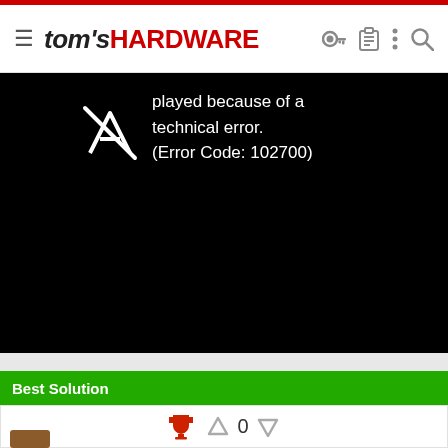tom's HARDWARE
[Figure (screenshot): Video player showing error message: 'This video cannot be played because of a technical error. (Error Code: 102700)' on black background with broken video icon]
Best Solution
[Figure (infographic): Vote row with trophy icon (red), upvote arrow, count 0, downvote arrow]